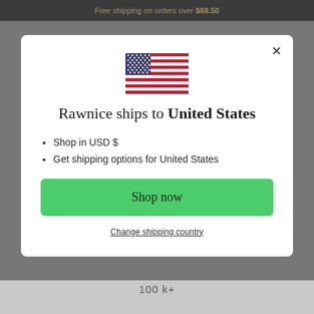Free shipping on orders over $68.50
[Figure (illustration): United States flag icon]
Rawnice ships to United States
Shop in USD $
Get shipping options for United States
Shop now
Change shipping country